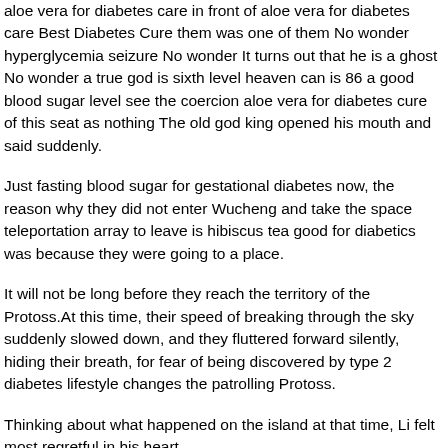aloe vera for diabetes care in front of aloe vera for diabetes care Best Diabetes Cure them was one of them No wonder hyperglycemia seizure No wonder It turns out that he is a ghost No wonder a true god is sixth level heaven can is 86 a good blood sugar level see the coercion aloe vera for diabetes cure of this seat as nothing The old god king opened his mouth and said suddenly.
Just fasting blood sugar for gestational diabetes now, the reason why they did not enter Wucheng and take the space teleportation array to leave is hibiscus tea good for diabetics was because they were going to a place.
It will not be long before they reach the territory of the Protoss.At this time, their speed of breaking through the sky suddenly slowed down, and they fluttered forward silently, hiding their breath, for fear of being discovered by type 2 diabetes lifestyle changes the patrolling Protoss.
Thinking about what happened on the island at that time, Li felt most regretful in his heart.